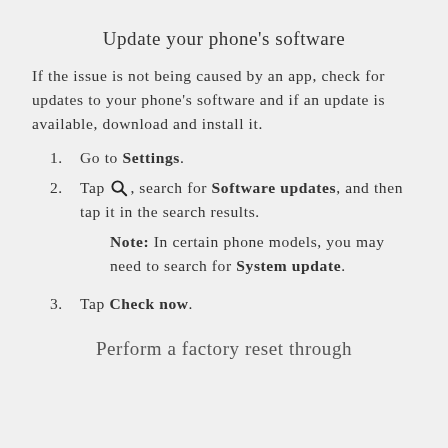Update your phone's software
If the issue is not being caused by an app, check for updates to your phone's software and if an update is available, download and install it.
Go to Settings.
Tap [search icon], search for Software updates, and then tap it in the search results. Note: In certain phone models, you may need to search for System update.
Tap Check now.
Perform a factory reset through